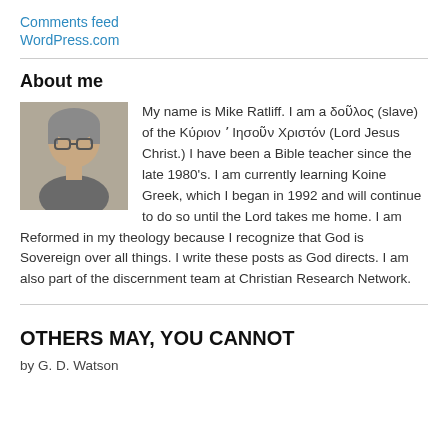Comments feed
WordPress.com
About me
[Figure (photo): Portrait photo of Mike Ratliff, a middle-aged man with grey hair and glasses]
My name is Mike Ratliff. I am a δοῦλος (slave) of the Κύριον ʼ Ιησοῦν Χριστόν (Lord Jesus Christ.) I have been a Bible teacher since the late 1980's. I am currently learning Koine Greek, which I began in 1992 and will continue to do so until the Lord takes me home. I am Reformed in my theology because I recognize that God is Sovereign over all things. I write these posts as God directs. I am also part of the discernment team at Christian Research Network.
OTHERS MAY, YOU CANNOT
by G. D. Watson